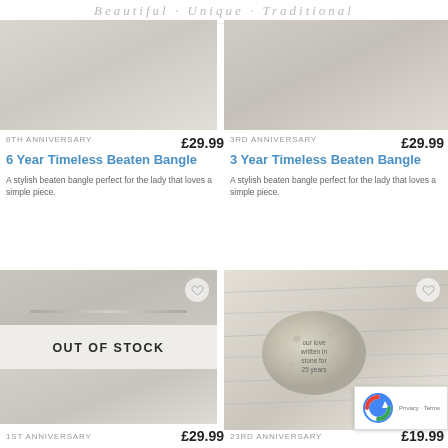Beautiful · Unique · Traditional
[Figure (photo): Close-up product photo of a 6 Year Timeless Beaten Bangle on beige background]
6TH ANNIVERSARY
£29.99
6 Year Timeless Beaten Bangle
A stylish beaten bangle perfect for the lady that loves a simple piece.
[Figure (photo): Close-up product photo of a 3 Year Timeless Beaten Bangle on beige background]
3RD ANNIVERSARY
£29.99
3 Year Timeless Beaten Bangle
A stylish beaten bangle perfect for the lady that loves a simple piece.
[Figure (photo): Product image showing a ring bangle with OUT OF STOCK overlay]
OUT OF STOCK
1ST ANNIVERSARY
£29.99
[Figure (photo): Close-up photo of a silver pebble/stone keepsake with text engraved: our love written in stone for 25 years]
23RD ANNIVERSARY
£19.99